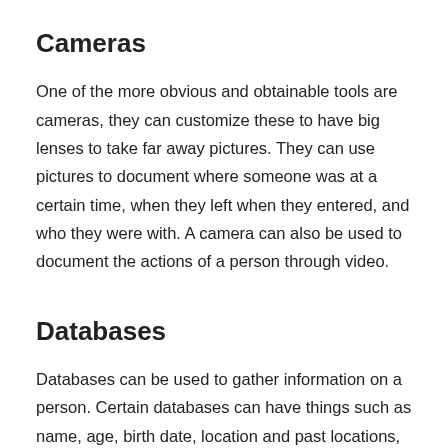Cameras
One of the more obvious and obtainable tools are cameras, they can customize these to have big lenses to take far away pictures. They can use pictures to document where someone was at a certain time, when they left when they entered, and who they were with. A camera can also be used to document the actions of a person through video.
Databases
Databases can be used to gather information on a person. Certain databases can have things such as name, age, birth date, location and past locations,